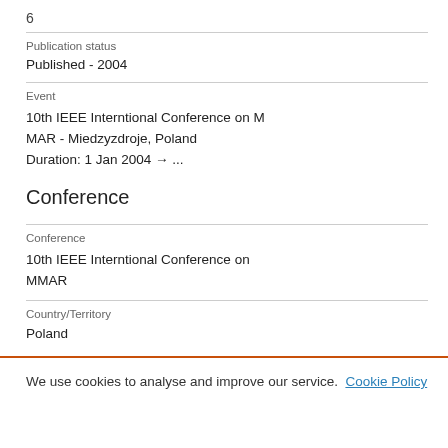6
Publication status
Published - 2004
Event
10th IEEE Interntional Conference on M
MAR - Miedzyzdroje, Poland
Duration: 1 Jan 2004 → ...
Conference
Conference
10th IEEE Interntional Conference on MMAR
Country/Territory
Poland
We use cookies to analyse and improve our service. Cookie Policy